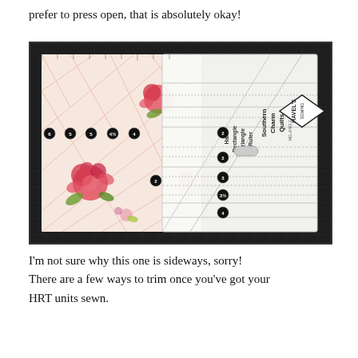prefer to press open, that is absolutely okay!
[Figure (photo): A sideways photograph showing a quilting ruler (Havel's Sewing Southern Charm Quilts Half Rectangle Triangle Ruler) placed on top of floral fabric on a cutting mat grid. The ruler has numbered markings and circular knobs along the edge.]
I'm not sure why this one is sideways, sorry! There are a few ways to trim once you've got your HRT units sewn.